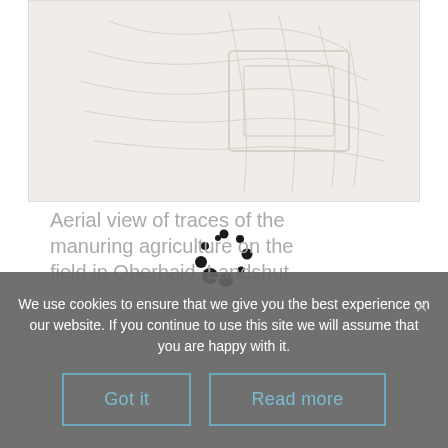[Figure (illustration): Product image showing an aerial view illustration on a light beige/off-white background with faint line art depicting agricultural field patterns]
Aerial view of traces of the manuring agriculture on the field in Oberhaid, Landshut
€75,00 – €225,00
[Figure (other): Loading spinner animation — circular arrangement of black dots of varying sizes]
We use cookies to ensure that we give you the best experience on our website. If you continue to use this site we will assume that you are happy with it.
Got it
Read more